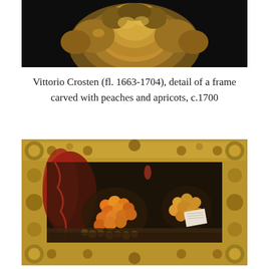[Figure (photo): Close-up detail of an ornate gilded carved frame with baroque decorative motifs including fruit and scrollwork, against a dark background.]
Vittorio Crosten (fl. 1663-1704), detail of a frame carved with peaches and apricots, c.1700
[Figure (photo): A baroque gilded carved frame with elaborate fruit and scrollwork ornamentation, enclosing a still life oil painting depicting heaped peaches and apricots on a table with red drapery in the background.]